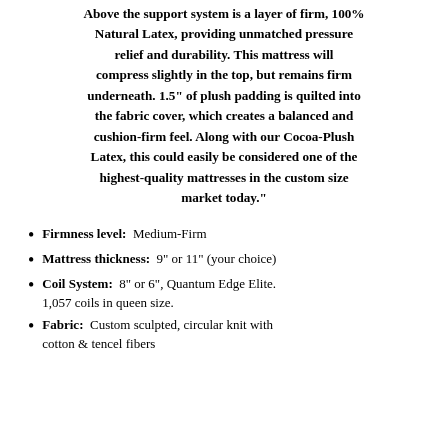Above the support system is a layer of firm, 100% Natural Latex, providing unmatched pressure relief and durability. This mattress will compress slightly in the top, but remains firm underneath. 1.5" of plush padding is quilted into the fabric cover, which creates a balanced and cushion-firm feel. Along with our Cocoa-Plush Latex, this could easily be considered one of the highest-quality mattresses in the custom size market today."
Firmness level: Medium-Firm
Mattress thickness: 9" or 11" (your choice)
Coil System: 8” or 6", Quantum Edge Elite. 1,057 coils in queen size.
Fabric: Custom sculpted, circular knit with cotton & tencel fibers